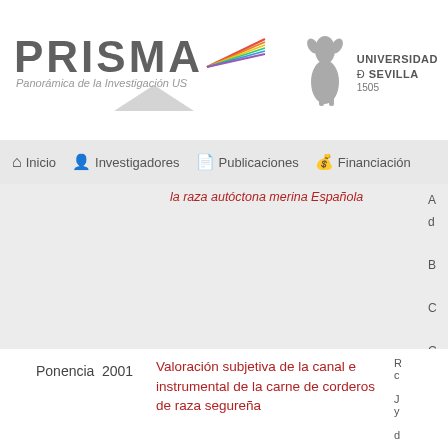PRISMA — Panorámica de la Investigación US | Universidad de Sevilla 1505
Inicio | Investigadores | Publicaciones | Financiación
la raza autóctona merina Española
| Tipo | Año | Título | Autores/Detalles |
| --- | --- | --- | --- |
| Ponencia | 2001 | Valoración subjetiva de la canal e instrumental de la carne de corderos de raza segureña |  |